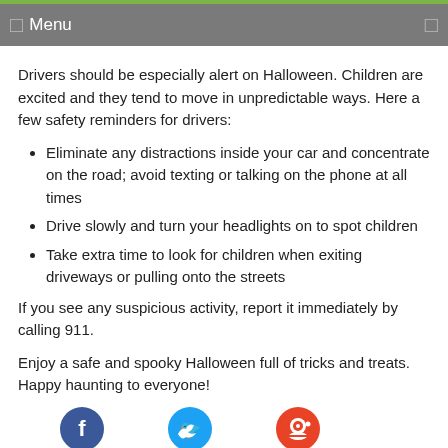Menu
Drivers should be especially alert on Halloween. Children are excited and they tend to move in unpredictable ways. Here a few safety reminders for drivers:
Eliminate any distractions inside your car and concentrate on the road; avoid texting or talking on the phone at all times
Drive slowly and turn your headlights on to spot children
Take extra time to look for children when exiting driveways or pulling onto the streets
If you see any suspicious activity, report it immediately by calling 911.
Enjoy a safe and spooky Halloween full of tricks and treats. Happy haunting to everyone!
[Figure (other): Social media sharing icons for Facebook, Twitter, and Reddit]